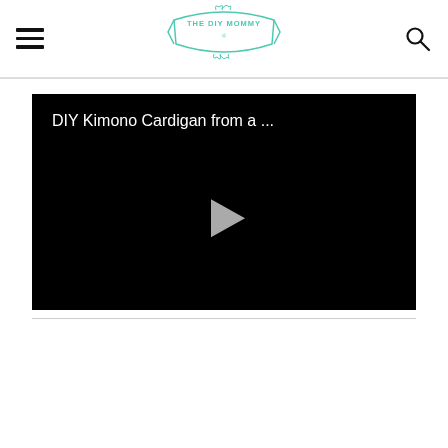THE DIY MOMMY — navigation header with hamburger menu and search icon
[Figure (screenshot): Video thumbnail with black background showing title 'DIY Kimono Cardigan from a ...' and a grey play button in the center]